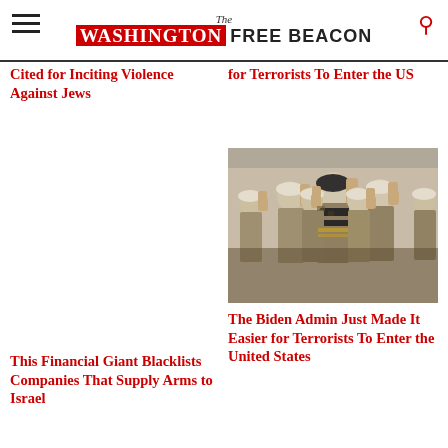The Washington Free Beacon
Cited for Inciting Violence Against Jews
for Terrorists To Enter the US
[Figure (photo): Military soldiers in camouflage uniforms and white berets marching with raised fists]
The Biden Admin Just Made It Easier for Terrorists To Enter the United States
This Financial Giant Blacklists Companies That Supply Arms to Israel